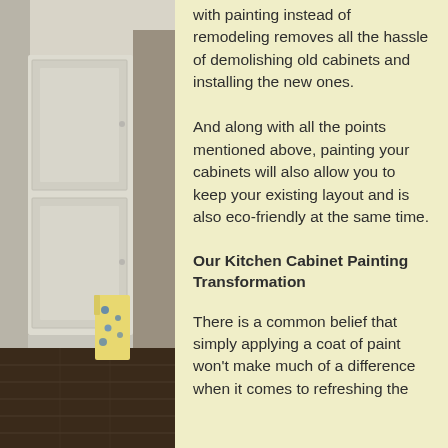[Figure (photo): Photo of a kitchen interior showing white painted cabinets, dark hardwood floor, and a colorful apron hanging on a cabinet door]
with painting instead of remodeling removes all the hassle of demolishing old cabinets and installing the new ones. And along with all the points mentioned above, painting your cabinets will also allow you to keep your existing layout and is also eco-friendly at the same time.
Our Kitchen Cabinet Painting Transformation
There is a common belief that simply applying a coat of paint won't make much of a difference when it comes to refreshing the